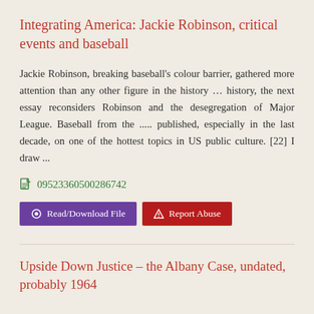Integrating America: Jackie Robinson, critical events and baseball
Jackie Robinson, breaking baseball's colour barrier, gathered more attention than any other figure in the history … history, the next essay reconsiders Robinson and the desegregation of Major League. Baseball from the ..... published, especially in the last decade, on one of the hottest topics in US public culture. [22] I draw ...
09523360500286742
Read/Download File   Report Abuse
Upside Down Justice – the Albany Case, undated, probably 1964